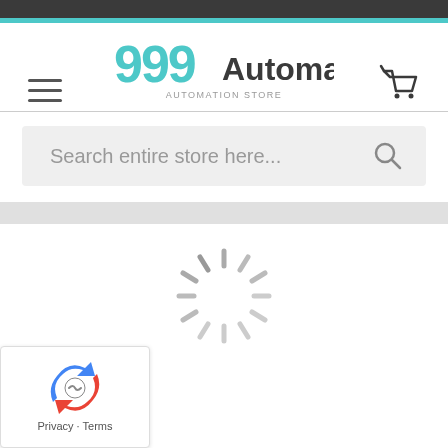[Figure (logo): 999Automation logo with teal 999 numerals and dark gray Automation text]
[Figure (other): Search bar with placeholder text: Search entire store here...]
[Figure (other): Loading spinner (circular progress indicator in gray)]
[Figure (other): reCAPTCHA widget with Privacy and Terms links]